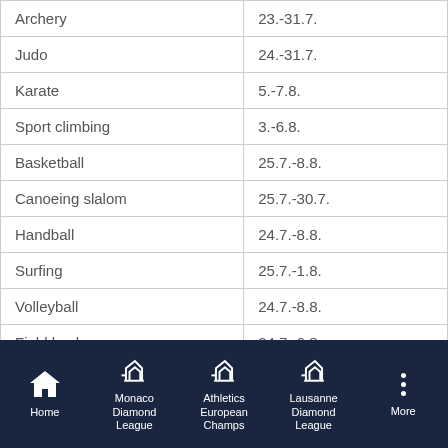| Sport | Dates |
| --- | --- |
| Archery | 23.-31.7. |
| Judo | 24.-31.7. |
| Karate | 5.-7.8. |
| Sport climbing | 3.-6.8. |
| Basketball | 25.7.-8.8. |
| Canoeing slalom | 25.7.-30.7. |
| Handball | 24.7.-8.8. |
| Surfing | 25.7.-1.8. |
| Volleyball | 24.7.-8.8. |
| Fiald hockey | 24.7.-6.8. |
| Road racing | 24.-25.7. ja 28.7. |
| Mountain biking | 26.-27.7. |
| Fencing | 24.7.-1.8. |
Home | Monaco Diamond League | Athletics European Champs | Lausanne Diamond League | More